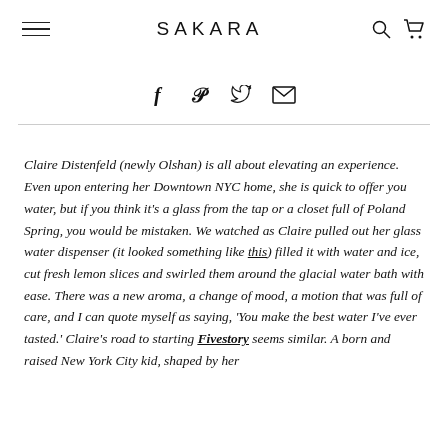SAKARA
[Figure (infographic): Social sharing icons: Facebook (f), Pinterest (P), Twitter bird, Email envelope]
Claire Distenfeld (newly Olshan) is all about elevating an experience. Even upon entering her Downtown NYC home, she is quick to offer you water, but if you think it's a glass from the tap or a closet full of Poland Spring, you would be mistaken. We watched as Claire pulled out her glass water dispenser (it looked something like this) filled it with water and ice, cut fresh lemon slices and swirled them around the glacial water bath with ease. There was a new aroma, a change of mood, a motion that was full of care, and I can quote myself as saying, 'You make the best water I've ever tasted.' Claire's road to starting Fivestory seems similar. A born and raised New York City kid, shaped by her